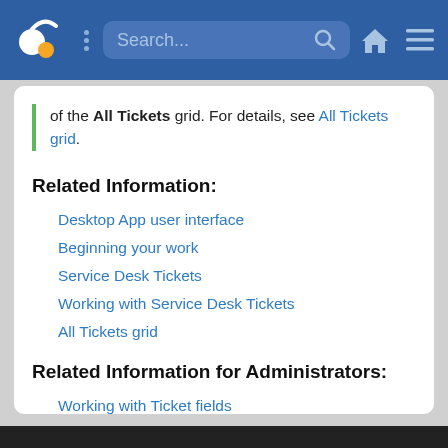[Figure (screenshot): Navigation bar with logo (two circles, orange and white), vertical dots menu, search box, home icon, and hamburger menu on blue background]
of the All Tickets grid. For details, see All Tickets grid.
Related Information:
Desktop App user interface
Beginning your work
Service Desk Tickets
Working with Service Desk Tickets
All Tickets grid
Related Information for Administrators:
Working with Ticket fields